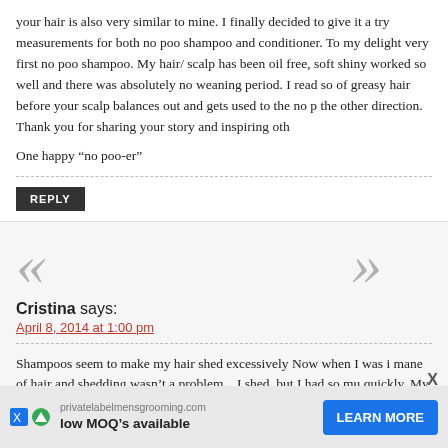your hair is also very similar to mine. I finally decided to give it a try measurements for both no poo shampoo and conditioner. To my delight very first no poo shampoo. My hair/ scalp has been oil free, soft shiny worked so well and there was absolutely no weaning period. I read so of greasy hair before your scalp balances out and gets used to the no p the other direction. Thank you for sharing your story and inspiring oth
One happy “no poo-er”
REPLY
Cristina says:
April 8, 2014 at 1:00 pm
Shampoos seem to make my hair shed excessively Now when I was i mane of hair and shedding wasn’t a problem…I shed, but I had so mu quickly. My struggling came after I had my fourth child, in my th my hair just seem to get damaged more easily and break. It beca
privatelabelmensgrooming.com low MOQ’s available
LEARN MORE